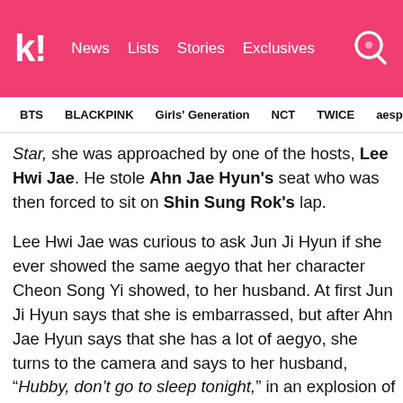k! News  Lists  Stories  Exclusives
BTS  BLACKPINK  Girls' Generation  NCT  TWICE  aespa
Star, she was approached by one of the hosts, Lee Hwi Jae. He stole Ahn Jae Hyun's seat who was then forced to sit on Shin Sung Rok's lap.
Lee Hwi Jae was curious to ask Jun Ji Hyun if she ever showed the same aegyo that her character Cheon Song Yi showed, to her husband. At first Jun Ji Hyun says that she is embarrassed, but after Ahn Jae Hyun says that she has a lot of aegyo, she turns to the camera and says to her husband, “Hubby, don’t go to sleep tonight,” in an explosion of aegyo.